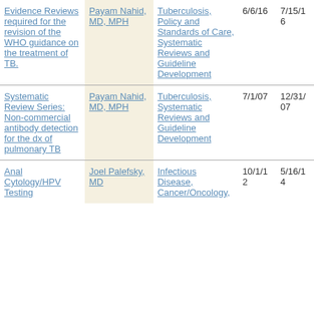| Title | Investigator | Topic Area | Start Date | End Date |
| --- | --- | --- | --- | --- |
| Evidence Reviews required for the revision of the WHO guidance on the treatment of TB. | Payam Nahid, MD, MPH | Tuberculosis, Policy and Standards of Care, Systematic Reviews and Guideline Development | 6/6/16 | 7/15/16 |
| Systematic Review Series: Non-commercial antibody detection for the dx of pulmonary TB | Payam Nahid, MD, MPH | Tuberculosis, Systematic Reviews and Guideline Development | 7/1/07 | 12/31/07 |
| Anal Cytology/HPV Testing | Joel Palefsky, MD | Infectious Disease, Cancer/Oncology, | 10/1/12 | 5/16/14 |